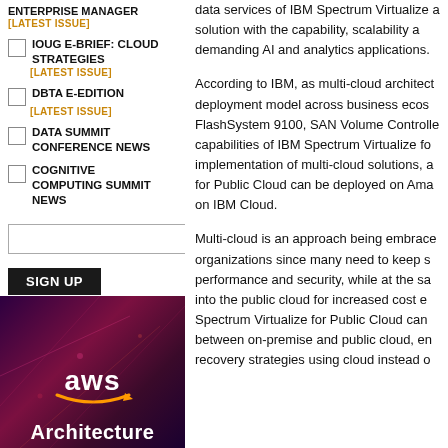ENTERPRISE MANAGER [LATEST ISSUE]
IOUG E-BRIEF: CLOUD STRATEGIES [LATEST ISSUE]
DBTA E-EDITION [LATEST ISSUE]
DATA SUMMIT CONFERENCE NEWS
COGNITIVE COMPUTING SUMMIT NEWS
[Figure (other): AWS Architecture banner image with AWS logo and smile arrow, dark purple/red gradient background with glowing lines, text 'Architecture' at bottom]
data services of IBM Spectrum Virtualize a solution with the capability, scalability a demanding AI and analytics applications.
According to IBM, as multi-cloud architect deployment model across business ecos FlashSystem 9100, SAN Volume Controlle capabilities of IBM Spectrum Virtualize fo implementation of multi-cloud solutions, a for Public Cloud can be deployed on Ama on IBM Cloud.
Multi-cloud is an approach being embrace organizations since many need to keep s performance and security, while at the sa into the public cloud for increased cost e Spectrum Virtualize for Public Cloud can between on-premise and public cloud, en recovery strategies using cloud instead o